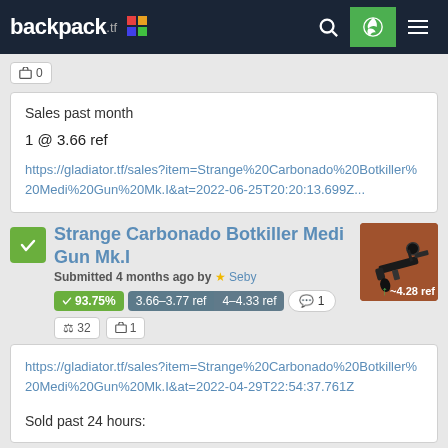backpack.tf
0
Sales past month
1 @ 3.66 ref
https://gladiator.tf/sales?item=Strange%20Carbonado%20Botkiller%20Medi%20Gun%20Mk.I&at=2022-06-25T20:20:13.699Z...
Strange Carbonado Botkiller Medi Gun Mk.I
Submitted 4 months ago by ★ Seby
✓ 93.75%  3.66–3.77 ref  4–4.33 ref  💬 1
⚖ 32  🧳 1
https://gladiator.tf/sales?item=Strange%20Carbonado%20Botkiller%20Medi%20Gun%20Mk.I&at=2022-04-29T22:54:37.761Z

Sold past 24 hours: